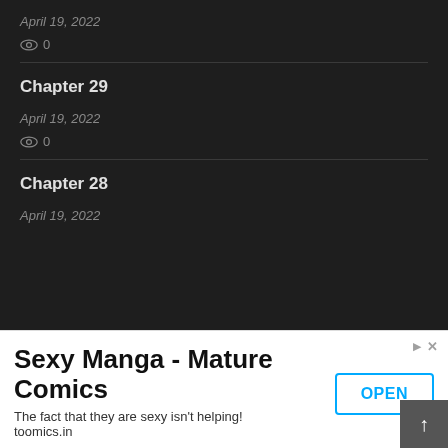April 19, 2022
👁 0
Chapter 29
April 19, 2022
👁 0
Chapter 28
April 19, 2022
Sexy Manga - Mature Comics
The fact that they are sexy isn't helping!
toomics.in